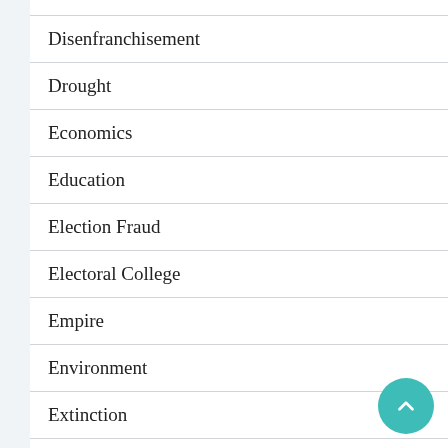Disenfranchisement
Drought
Economics
Education
Election Fraud
Electoral College
Empire
Environment
Extinction
Farming